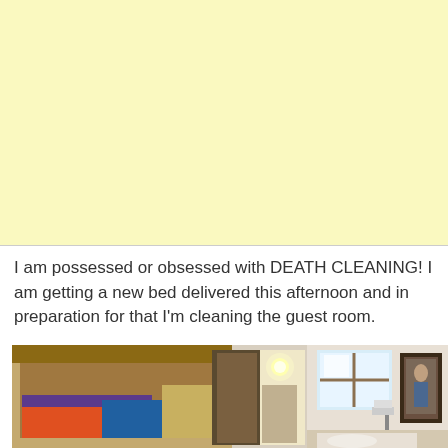[Figure (other): Yellow/cream colored background block, likely an advertisement placeholder]
I am possessed or obsessed with DEATH CLEANING! I am getting a new bed delivered this afternoon and in preparation for that I'm cleaning the guest room.
[Figure (photo): Photo of a guest room with wooden bunk bed or loft bed structure on the left side with an open closet door showing a light inside, and on the right side a bright window with framed artwork on the wall and a lamp visible]